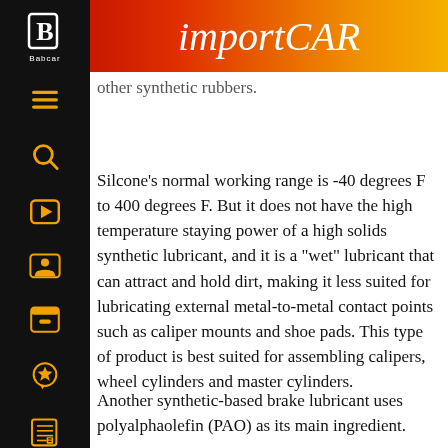importCAR
other synthetic rubbers.
Silcone's normal working range is -40 degrees F to 400 degrees F. But it does not have the high temperature staying power of a high solids synthetic lubricant, and it is a “wet” lubricant that can attract and hold dirt, making it less suited for lubricating external metal-to-metal contact points such as caliper mounts and shoe pads. This type of product is best suited for assembling calipers, wheel cylinders and master cylinders.
Another synthetic-based brake lubricant uses polyalphaolefin (PAO) as its main ingredient.